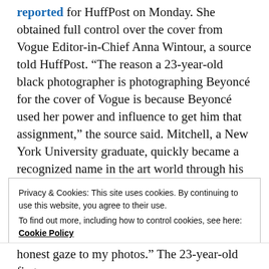reported for HuffPost on Monday. She obtained full control over the cover from Vogue Editor-in-Chief Anna Wintour, a source told HuffPost. “The reason a 23-year-old black photographer is photographing Beyoncé for the cover of Vogue is because Beyoncé used her power and influence to get him that assignment,” the source said. Mitchell, a New York University graduate, quickly became a recognized name in the art world through his work in Cuba and his featured work on Instagram. His more than 40,000 Instagram followers include celebrities like Rose McGowan and Naomi Campbell.
Privacy & Cookies: This site uses cookies. By continuing to use this website, you agree to their use.
To find out more, including how to control cookies, see here: Cookie Policy
Close and accept
honest gaze to my photos.” The 23-year-old first